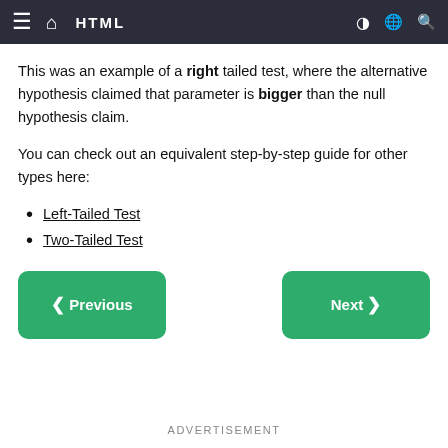HTML
This was an example of a right tailed test, where the alternative hypothesis claimed that parameter is bigger than the null hypothesis claim.
You can check out an equivalent step-by-step guide for other types here:
Left-Tailed Test
Two-Tailed Test
Previous | Next (navigation buttons)
ADVERTISEMENT